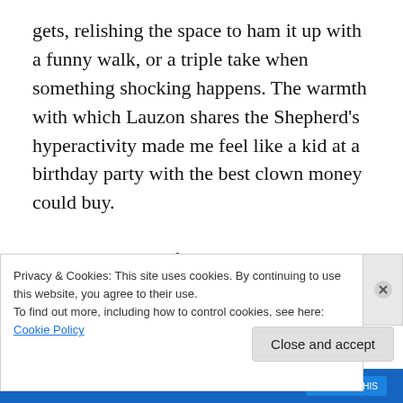gets, relishing the space to ham it up with a funny walk, or a triple take when something shocking happens. The warmth with which Lauzon shares the Shepherd's hyperactivity made me feel like a kid at a birthday party with the best clown money could buy.

My guest, Ricky, found the actors' commitment to the material incredibly engaging. It didn't matter that people were walking their dogs or having picnics all around you. He also considered the pre-show land acknowledgement an effective way to both raise consciousness and get
Privacy & Cookies: This site uses cookies. By continuing to use this website, you agree to their use.
To find out more, including how to control cookies, see here: Cookie Policy
Close and accept